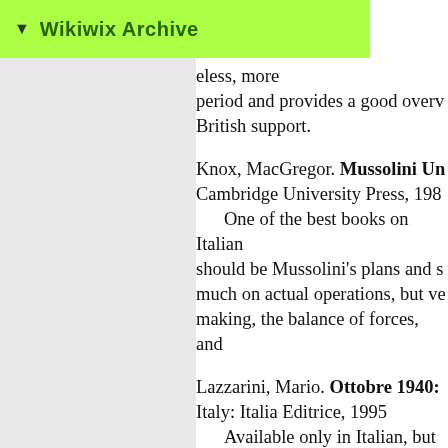Wikiwix Archive
eless, more period and provides a good overv British support.
Knox, MacGregor. Mussolini Un Cambridge University Press, 1982. One of the best books on Italian should be Mussolini's plans and s much on actual operations, but ve making, the balance of forces, and
Lazzarini, Mario. Ottobre 1940: Italy: Italia Editrice, 1995. Available only in Italian, but pa and diagrams that make it easy to anyone who reads Italian, or with text also yields a great deal of inf of comparative forces, and maps s
Ministero della Difesa. La Camp Ufficio Storico, 1980. These three official history volu